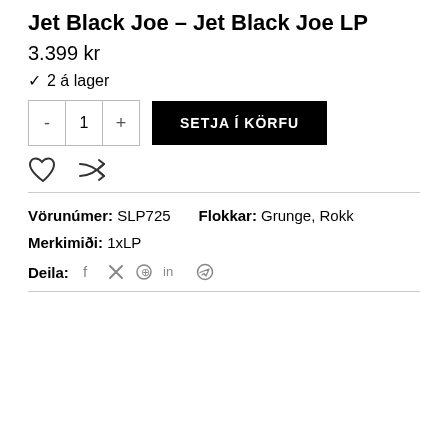Jet Black Joe – Jet Black Joe LP
3.399 kr
✓ 2 á lager
[Figure (screenshot): Quantity selector with minus, 1, plus buttons and a black 'SETJA Í KÖRFU' (Add to Cart) button]
[Figure (other): Heart icon and shuffle/compare icon]
Vörunúmer: SLP725   Flokkar: Grunge, Rokk
Merkimiði: 1xLP
Deila:  f  𝕏  ⊙  in  ✈